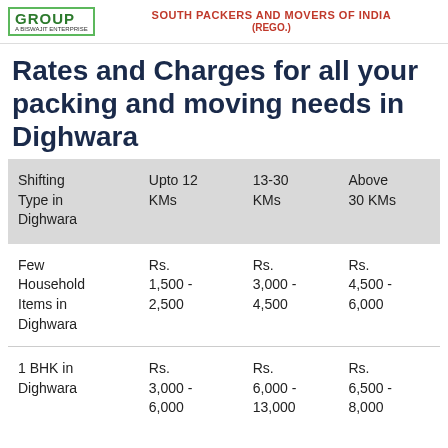GROUP | SOUTH PACKERS AND MOVERS OF INDIA (REGO.)
Rates and Charges for all your packing and moving needs in Dighwara
| Shifting Type in Dighwara | Upto 12 KMs | 13-30 KMs | Above 30 KMs |
| --- | --- | --- | --- |
| Few Household Items in Dighwara | Rs. 1,500 - 2,500 | Rs. 3,000 - 4,500 | Rs. 4,500 - 6,000 |
| 1 BHK in Dighwara | Rs. 3,000 - 6,000 | Rs. 6,000 - 13,000 | Rs. 6,500 - 8,000 |